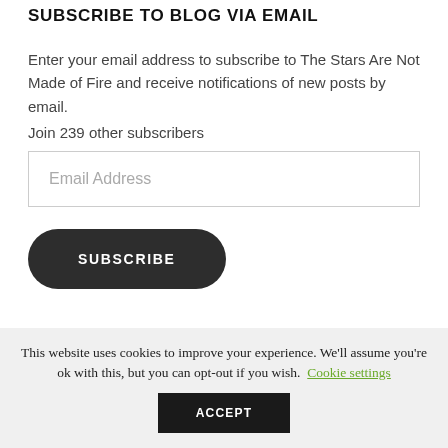SUBSCRIBE TO BLOG VIA EMAIL
Enter your email address to subscribe to The Stars Are Not Made of Fire and receive notifications of new posts by email.
Join 239 other subscribers
Email Address
SUBSCRIBE
This website uses cookies to improve your experience. We'll assume you're ok with this, but you can opt-out if you wish. Cookie settings
ACCEPT